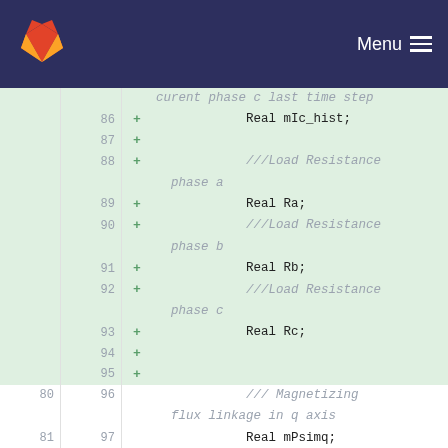Menu
[Figure (screenshot): GitLab logo in orange/red color on dark navy header bar]
curent phase c last time step
86  +   Real mIc_hist;
87  +
88  +   ///Load Resistance phase a
89  +   Real Ra;
90  +   ///Load Resistance phase b
91  +   Real Rb;
92  +   ///Load Resistance phase c
93  +   Real Rc;
94  +
95  +
80  96      /// Magnetizing flux linkage in q axis
81  97      Real mPsimq;
82  98      /// Magnetizing flux linkage in d axis
...  ...